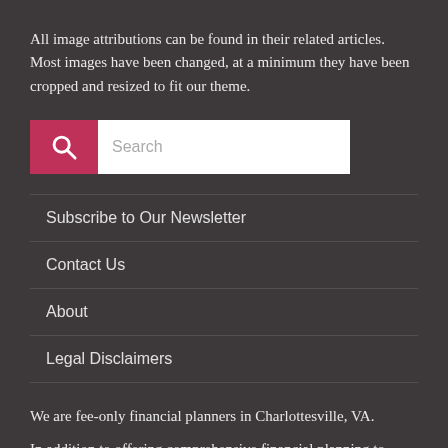All image attributions can be found in their related articles. Most images have been changed, at a minimum they have been cropped and resized to fit our theme.
[Figure (other): Search bar with pink/red search icon button on left and white input field with placeholder text 'Search' on right]
Subscribe to Our Newsletter
Contact Us
About
Legal Disclaimers
We are fee-only financial planners in Charlottesville, VA.
In addition to offering comprehensive financial planning to those local to the Charlottesville and central Virginia areas, we also happily serve clients across the United States.